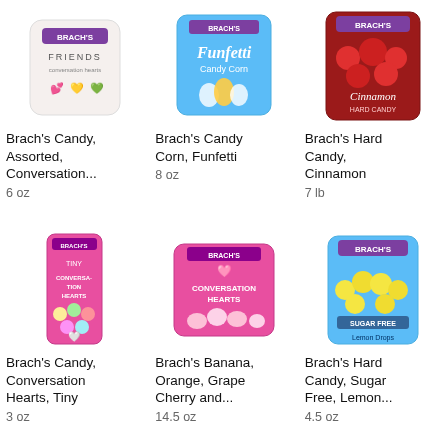[Figure (photo): Brach's Friends Conversation Hearts candy bag, white bag with colorful hearts]
Brach's Candy, Assorted, Conversation...
6 oz
[Figure (photo): Brach's Funfetti Candy Corn, blue bag]
Brach's Candy Corn, Funfetti
8 oz
[Figure (photo): Brach's Cinnamon Hard Candy, dark red bag with red candies]
Brach's Hard Candy, Cinnamon
7 lb
[Figure (photo): Brach's Tiny Conversation Hearts, pink tall bag with colorful hearts]
Brach's Candy, Conversation Hearts, Tiny
3 oz
[Figure (photo): Brach's Conversation Hearts, pink bag with heart candies]
Brach's Banana, Orange, Grape Cherry and...
14.5 oz
[Figure (photo): Brach's Sugar Free Lemon Drops hard candy, blue bag with yellow candies]
Brach's Hard Candy, Sugar Free, Lemon...
4.5 oz